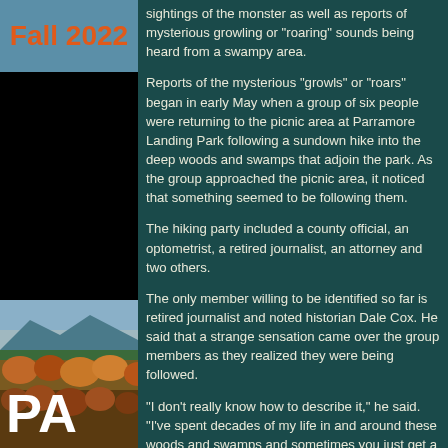Fall 2022
[Figure (photo): Autumn forest landscape with mountains and colorful foliage, overlaid with large white text 'PA']
sightings of the monster as well as reports of mysterious growling or "roaring" sounds being heard from a swampy area.

Reports of the mysterious "growls" or "roars" began in early May when a group of six people were returning to the picnic area at Parramore Landing Park following a sundown hike into the deep woods and swamps that adjoin the park. As the group approached the picnic area, it noticed that something seemed to be following them.

The hiking party included a county official, an optometrist, a retired journalist, an attorney and two others.

The only member willing to be identified so far is retired journalist and noted historian Dale Cox. He said that a strange sensation came over the group members as they realized they were being followed.

"I don't really know how to describe it," he said. "I've spent decades of my life in and around these woods and swamps and sometimes you just get a feeling that something is there, watching you as you go